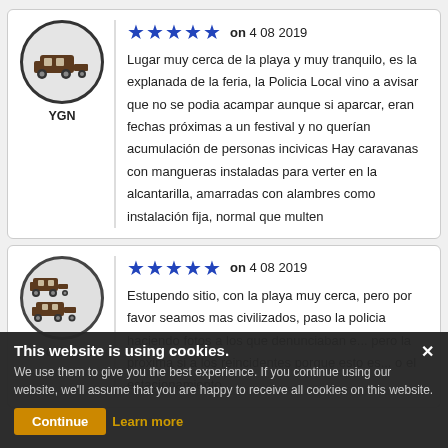[Figure (illustration): Circular avatar icon with caravan/motorhome symbol, labeled YGN]
★★★★★ on 4 08 2019
Lugar muy cerca de la playa y muy tranquilo, es la explanada de la feria, la Policia Local vino a avisar que no se podia acampar aunque si aparcar, eran fechas próximas a un festival y no querían acumulación de personas incivicas Hay caravanas con mangueras instaladas para verter en la alcantarilla, amarradas con alambres como instalación fija, normal que multen
[Figure (illustration): Circular avatar icon with two caravans symbol, labeled rociero]
★★★★★ on 4 08 2019
Estupendo sitio, con la playa muy cerca, pero por favor seamos mas civilizados, paso la policia haciendo fotos a los que denunciaban e... pero la proxima si a los reincidentes porque esto es... o el estacionamiento
This website is using cookies.
We use them to give you the best experience. If you continue using our website, we'll assume that you are happy to receive all cookies on this website.
Continue  Learn more